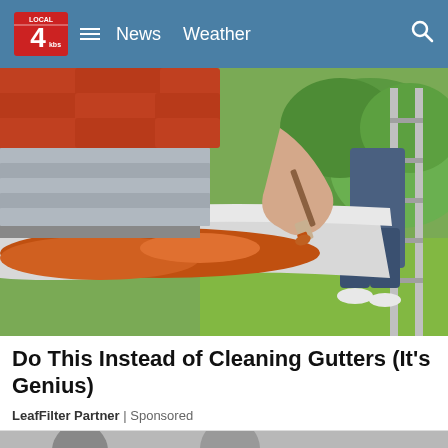LOCAL 4 News Weather
[Figure (photo): A person on a ladder cleaning or painting a house gutter with a brush, with rust/orange-colored water inside the white gutter. Red/terracotta roof tiles visible on the left, green trees and lawn visible in the background on the right.]
Do This Instead of Cleaning Gutters (It's Genius)
LeafFilter Partner | Sponsored
[Figure (photo): Bottom partial image strip showing people, partially cut off.]